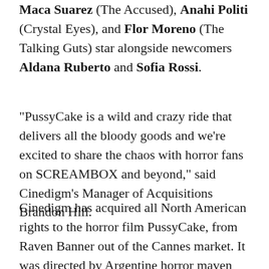Maca Suarez (The Accused), Anahi Politi (Crystal Eyes), and Flor Moreno (The Talking Guts) star alongside newcomers Aldana Ruberto and Sofia Rossi.
“PussyCake is a wild and crazy ride that delivers all the bloody goods and we’re excited to share the chaos with horror fans on SCREAMBOX and beyond,” said Cinedigm’s Manager of Acquisitions Brandon Hill.
Cinedigm has acquired all North American rights to the horror film PussyCake, from Raven Banner out of the Cannes market. It was directed by Argentine horror maven Pablo Parés (Plaga zombie). The film premiered at Buenos Aires Rojo Sangre in December, where it nabbed the Audience Award for best feature, and went on to play Finland’s Night